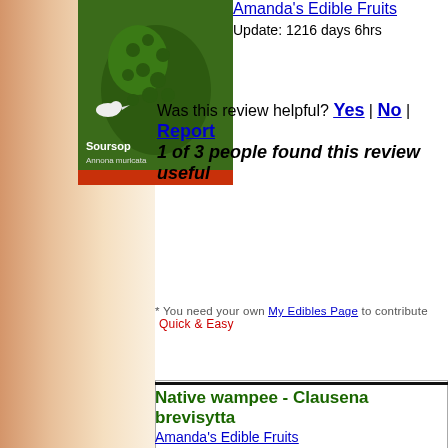[Figure (photo): Book cover for 'Soursop - Annona muricata' with green fruit image]
Amanda's Edible Fruits
Update: 1216 days 6hrs
Was this review helpful? Yes | No | Report
1 of 3 people found this review useful
Comment
* You need your own My Edibles Page to contribute Quick & Easy
Native wampee - Clausena brevisytta
Amanda's Edible Fruits
Update: 1216 days 6hrs
Pollination: Self Pollination